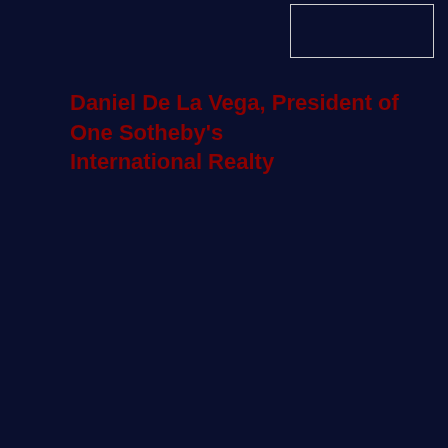[Figure (other): White rectangular outlined box in upper right corner, likely a logo placeholder or image frame on dark navy background]
Daniel De La Vega, President of One Sotheby’s International Realty